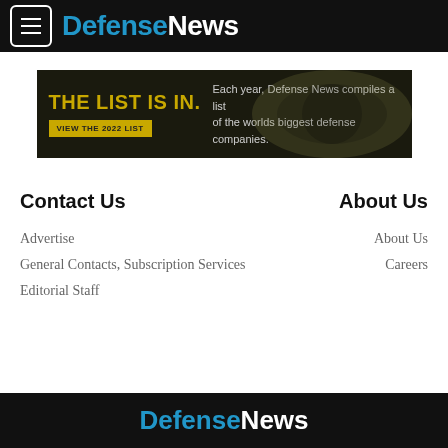Defense News
[Figure (infographic): Advertisement banner: 'THE LIST IS IN. Each year, Defense News compiles a list of the worlds biggest defense companies. VIEW THE 2022 LIST']
Contact Us
About Us
Advertise
About Us
General Contacts, Subscription Services
Careers
Editorial Staff
Defense News